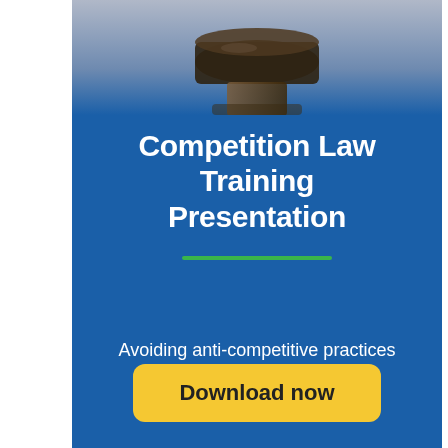[Figure (photo): Close-up photo of a wooden judge's gavel on a blue background]
Competition Law Training Presentation
Avoiding anti-competitive practices and market abuse
Download now